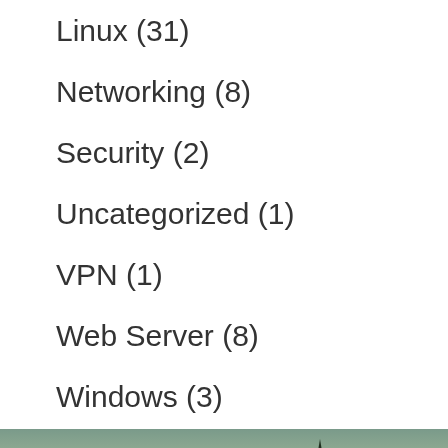Linux (31)
Networking (8)
Security (2)
Uncategorized (1)
VPN (1)
Web Server (8)
Windows (3)
[Figure (photo): Nature landscape photo with trees and misty background]
Tags
access apache apache2 auth ban boot centos chroot digitalocean dovecot fail2ban filter firewal git grub http httpd